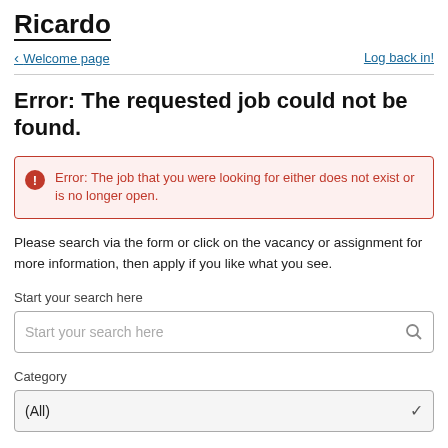Ricardo
< Welcome page    Log back in!
Error: The requested job could not be found.
Error: The job that you were looking for either does not exist or is no longer open.
Please search via the form or click on the vacancy or assignment for more information, then apply if you like what you see.
Start your search here
Category
(All)